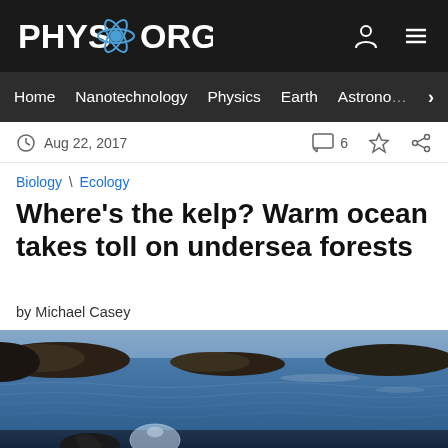PHYS.ORG
Home  Nanotechnology  Physics  Earth  Astronomy
Aug 22, 2017   6
Biology \ Ecology
Where's the kelp? Warm ocean takes toll on undersea forests
by Michael Casey
[Figure (photo): A diver or researcher holding a clear bag in ocean water near rocky coastline. Blue sea and rocky shore visible in background.]